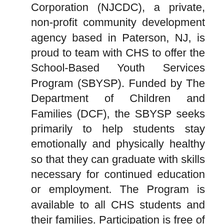Corporation (NJCDC), a private, non-profit community development agency based in Paterson, NJ, is proud to team with CHS to offer the School-Based Youth Services Program (SBYSP). Funded by The Department of Children and Families (DCF), the SBYSP seeks primarily to help students stay emotionally and physically healthy so that they can graduate with skills necessary for continued education or employment. The Program is available to all CHS students and their families. Participation is free of charge, is voluntary and only requires a Parental/Guardian Consent Form for students less than 18 years of age. Students can enroll themselves or be referred by any CHS staff member. The SBYSP (The Teen Center) is located in the South Wing, Room G-21 A (near the upper gyms). It is designed to